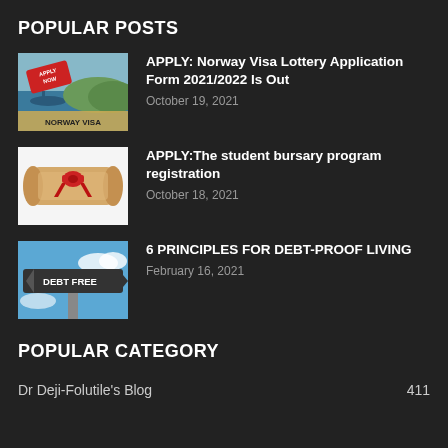POPULAR POSTS
APPLY: Norway Visa Lottery Application Form 2021/2022 Is Out
October 19, 2021
APPLY:The student bursary program registration
October 18, 2021
6 PRINCIPLES FOR DEBT-PROOF LIVING
February 16, 2021
POPULAR CATEGORY
Dr Deji-Folutile's Blog	411